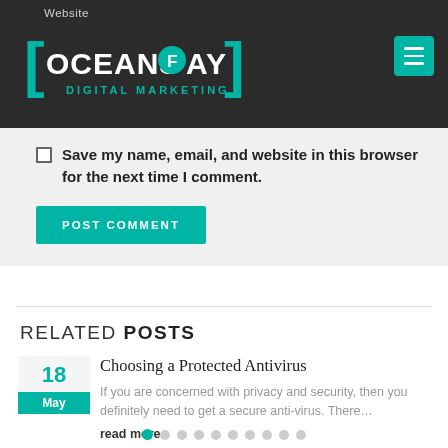Website — OceansFay Digital Marketing
Save my name, email, and website in this browser for the next time I comment.
POST COMMENT
RELATED POSTS
Choosing a Protected Antivirus
If you are concerned with privacy and security, then you definitely need to get a secure anti-virus. There…
read more ›